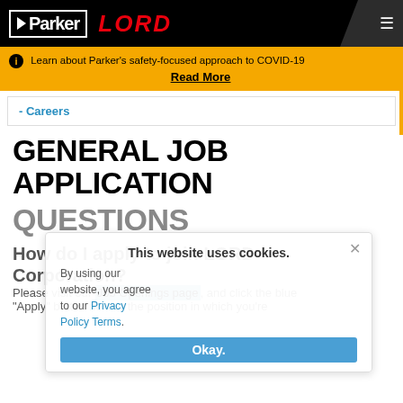Parker LORD - Header navigation with hamburger menu
Learn about Parker's safety-focused approach to COVID-19 Read More
- Careers
GENERAL JOB APPLICATION QUESTIONS
How do I apply to join LORD Corporation?
Please visit our Job Openings page, and click the blue "Apply" button next to the position in which you're
This website uses cookies. By using our website, you agree to our Privacy Policy Terms. Okay.